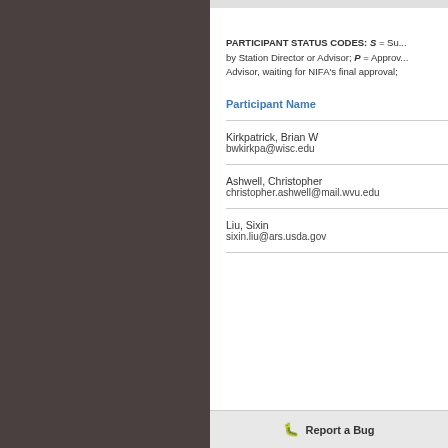PARTICIPANT STATUS CODES: S = Su... by Station Director or Advisor; P = Approv... Advisor, waiting for NIFA's final approval;
| Participant Name |
| --- |
| Kirkpatrick, Brian W
bwkirkpa@wisc.edu |
| Ashwell, Christopher
christopher.ashwell@mail.wvu.edu |
| Liu, Sixin
sixin.liu@ars.usda.gov |
Report a Bug